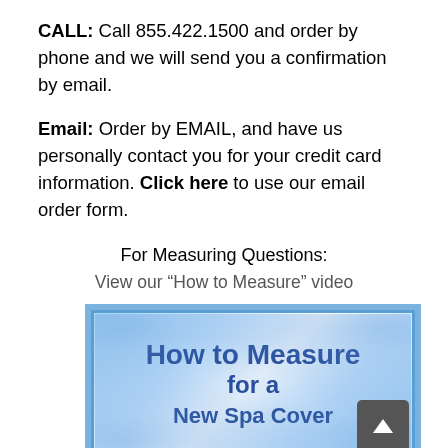CALL: Call 855.422.1500 and order by phone and we will send you a confirmation by email.
Email: Order by EMAIL, and have us personally contact you for your credit card information. Click here to use our email order form.
For Measuring Questions:
View our “How to Measure” video
[Figure (screenshot): Video thumbnail showing 'How to Measure for a New Spa Cover' with a blue decorative border and white center background, and a back-to-top button overlay in the bottom right corner.]